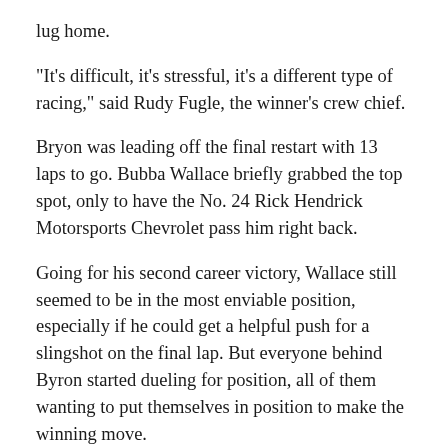lug home.
“It’s difficult, it’s stressful, it’s a different type of racing,” said Rudy Fugle, the winner’s crew chief.
Bryon was leading off the final restart with 13 laps to go. Bubba Wallace briefly grabbed the top spot, only to have the No. 24 Rick Hendrick Motorsports Chevrolet pass him right back.
Going for his second career victory, Wallace still seemed to be in the most enviable position, especially if he could get a helpful push for a slingshot on the final lap. But everyone behind Byron started dueling for position, all of them wanting to put themselves in position to make the winning move.
That worked out perfectly for Byron, who pulled away to win by 0.145 seconds over Ross Chastain while the final wreck of the day sent four cars — including Wallace — spinning across the line.